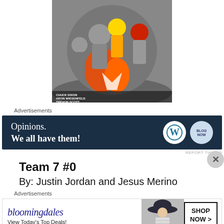[Figure (illustration): Comic book cover art showing armored superhero characters in orange and grey, with credits: Chuck Dixon, Aron Wiesenfeld, Trevor Scott]
Advertisements
[Figure (infographic): Advertisement banner: dark navy background with text 'Opinions. We all have them!' and WordPress logo plus another circular logo on the right.]
REPORT THIS AD
Team 7 #0
By: Justin Jordan and Jesus Merino
Advertisements
[Figure (infographic): Bloomingdale's advertisement with text 'View Today's Top Deals!' and a woman in a hat, with a 'SHOP NOW >' button.]